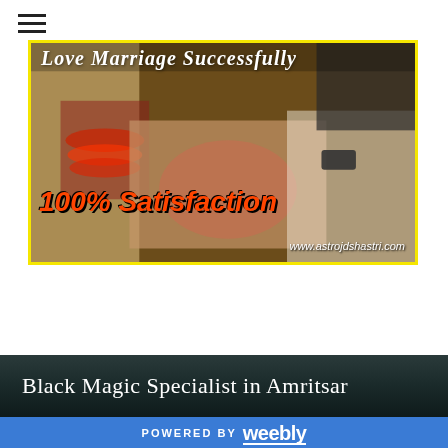[Figure (photo): Wedding photo showing Indian bride and groom holding hands, with text overlay reading 'Love Marriage Successfully', '100% Satisfaction', and website www.astrojdshastri.com. Yellow border frame.]
Black Magic Specialist in Amritsar
POWERED BY weebly